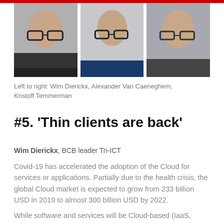[Figure (photo): Three headshot photos of men wearing glasses, side by side. Left to right: Wim Dierickx, Alexander Van Caeneghem, Kristoff Temmerman.]
Left to right: Wim Dierickx, Alexander Van Caeneghem, Kristoff Temmerman
#5. 'Thin clients are back'
Wim Dierickx, BCB leader Tri-ICT
Covid-19 has accelerated the adoption of the Cloud for services or applications. Partially due to the health crisis, the global Cloud market is expected to grow from 233 billion USD in 2019 to almost 300 billion USD by 2022.
While software and services will be Cloud-based (IaaS,